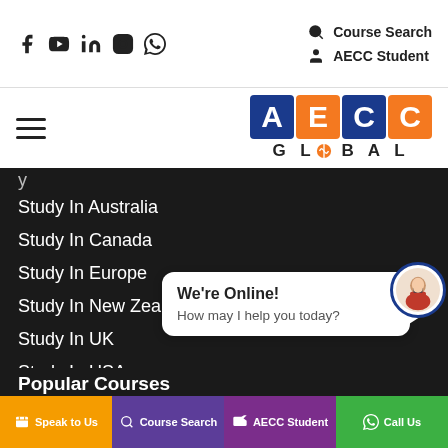Social icons: Facebook, YouTube, LinkedIn, Instagram, WhatsApp | Course Search | AECC Student
[Figure (logo): AECC Global logo with colored letter blocks and text GLOBAL below]
Study In Australia
Study In Canada
Study In Europe
Study In New Zealand
Study In UK
Study In USA
We're Online! How may I help you today?
Popular Courses
Speak to Us | Course Search | AECC Student | Call Us